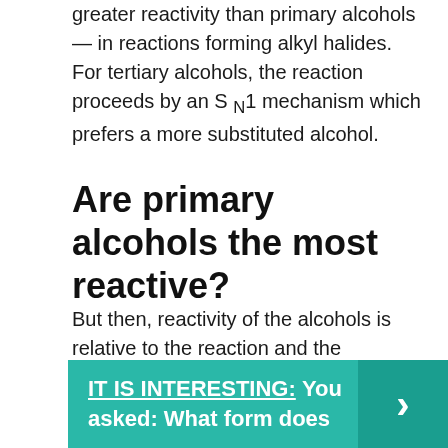greater reactivity than primary alcohols — in reactions forming alkyl halides. For tertiary alcohols, the reaction proceeds by an S N1 mechanism which prefers a more substituted alcohol.
Are primary alcohols the most reactive?
But then, reactivity of the alcohols is relative to the reaction and the environment. For instance, the primary alcohols are more reactive than the tertiary alcohols in SN2 reactions.
IT IS INTERESTING:  You asked: What form does